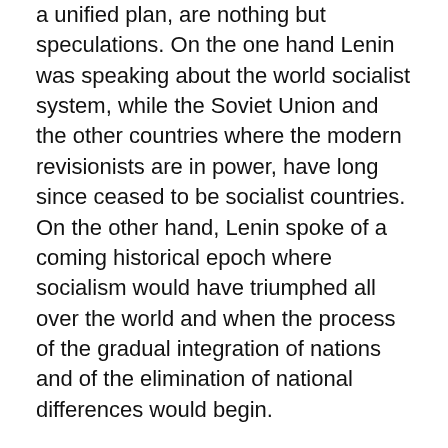a unified plan, are nothing but speculations. On the one hand Lenin was speaking about the world socialist system, while the Soviet Union and the other countries where the modern revisionists are in power, have long since ceased to be socialist countries. On the other hand, Lenin spoke of a coming historical epoch where socialism would have triumphed all over the world and when the process of the gradual integration of nations and of the elimination of national differences would begin.
It is clear that the creation of a world socialist system can develop only as a process of the birth and existence of sovereign socialist states, with their own national territories and with clearly defined state borders, with independent and balanced economies, based on socialist property which is administered by the representative organs of these national sovereign states, etc. As a